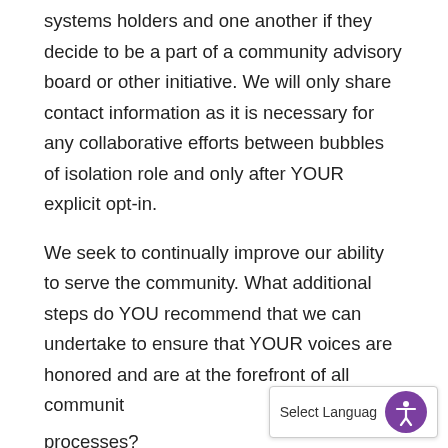systems holders and one another if they decide to be a part of a community advisory board or other initiative. We will only share contact information as it is necessary for any collaborative efforts between bubbles of isolation role and only after YOUR explicit opt-in.
We seek to continually improve our ability to serve the community. What additional steps do YOU recommend that we can undertake to ensure that YOUR voices are honored and are at the forefront of all community processes?